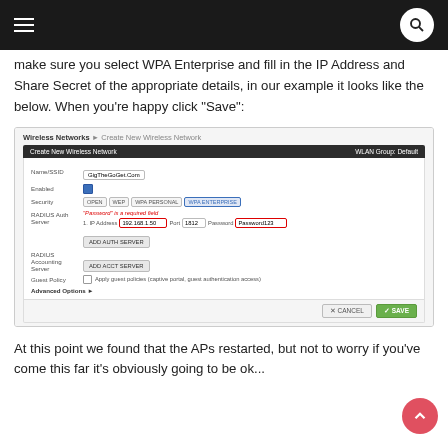Navigation header bar
make sure you select WPA Enterprise and fill in the IP Address and Share Secret of the appropriate details, in our example it looks like the below. When you're happy click "Save":
[Figure (screenshot): Screenshot of a wireless network configuration UI showing 'Wireless Networks > Create New Wireless Network' panel with fields for Name/SSID (GigTheGoGet.Com), Enabled checkbox, Security buttons (OPEN, WEP, WPA PERSONAL, WPA ENTERPRISE), RADIUS Auth Server with IP Address (192.168.1.50), Port (1812), Password (Password123), and buttons for ADD AUTH SERVER, ADD ACCT SERVER, Guest Policy checkbox, Advanced Options, CANCEL and SAVE buttons.]
At this point we found that the APs restarted, but not to worry if you've come this far it's obviously going to be ok...